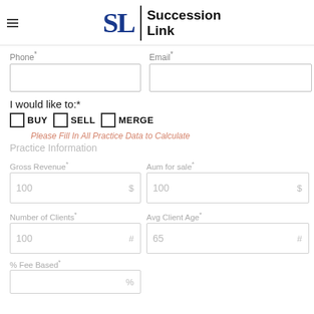[Figure (logo): Succession Link logo with SL monogram and text]
Phone*
Email*
I would like to:*
BUY
SELL
MERGE
Please Fill In All Practice Data to Calculate
Practice Information
Gross Revenue*
Aum for sale*
Number of Clients*
Avg Client Age*
% Fee Based*